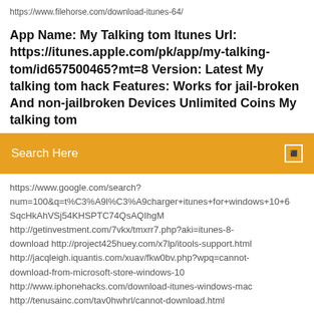https://www.filehorse.com/download-itunes-64/
App Name: My Talking tom Itunes Url: https://itunes.apple.com/pk/app/my-talking-tom/id657500465?mt=8 Version: Latest My talking tom hack Features: Works for jail-broken And non-jailbroken Devices Unlimited Coins My talking tom
Search Here
https://www.google.com/search?num=100&q=t%C3%A9l%C3%A9charger+itunes+for+windows+10+64SqcHkAhVSj54KHSPTC74QsAQIhgM http://getinvestment.com/7vkx/tmxrr7.php?aki=itunes-8-download http://project425huey.com/x7lp/itools-support.html http://jacqleigh.iquantis.com/xuav/fkw0bv.php?wpq=cannot-download-from-microsoft-store-windows-10 http://www.iphonehacks.com/download-itunes-windows-mac http://tenusainc.com/tav0hwhrl/cannot-download.html